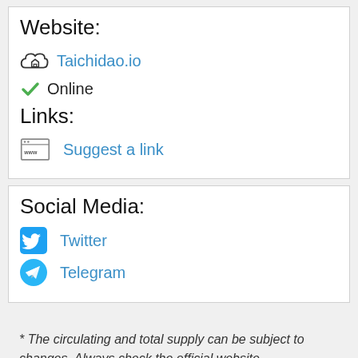Website:
Taichidao.io
Online
Links:
Suggest a link
Social Media:
Twitter
Telegram
* The circulating and total supply can be subject to changes. Always check the official website.